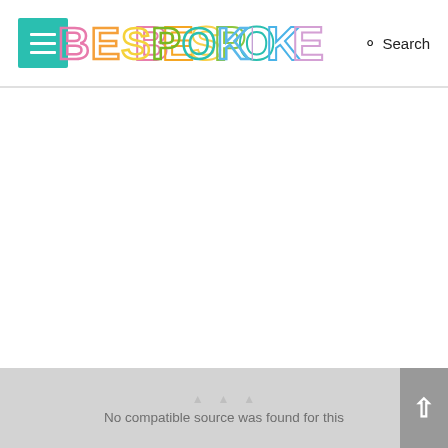BESPOKE BRIDE — Search
[Figure (screenshot): White empty content area below the navigation header]
No compatible source was found for this